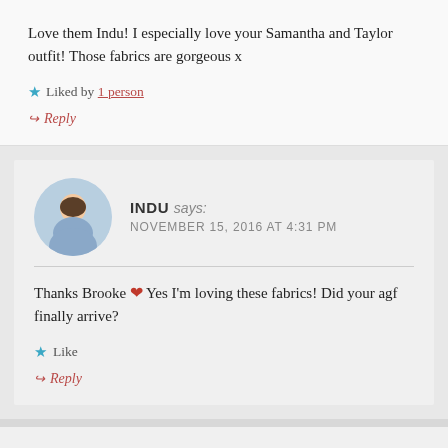Love them Indu! I especially love your Samantha and Taylor outfit! Those fabrics are gorgeous x
Liked by 1 person
Reply
INDU says: NOVEMBER 15, 2016 AT 4:31 PM
Thanks Brooke ❤ Yes I'm loving these fabrics! Did your agf finally arrive?
Like
Reply